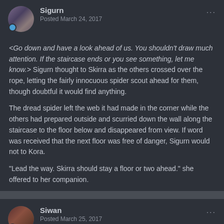Sigurn — Posted March 24, 2017
<Go down and have a look ahead of us. You shouldn't draw much attention. If the staircase ends or you see something, let me know.> Sigurn thought to Skirra as the others crossed over the rope, letting the fairly innocuous spider scout ahead for them, though doubtful it would find anything.
The dread spider left the web it had made in the corner while the others had prepared outside and scurried down the wall along the staircase to the floor below and disappeared from view. If word was received that the next floor was free of danger, Sigurn would not to Kora.
"Lead the way. Skirra should stay a floor or two ahead." she offered to her companion.
Siwan — Posted March 25, 2017